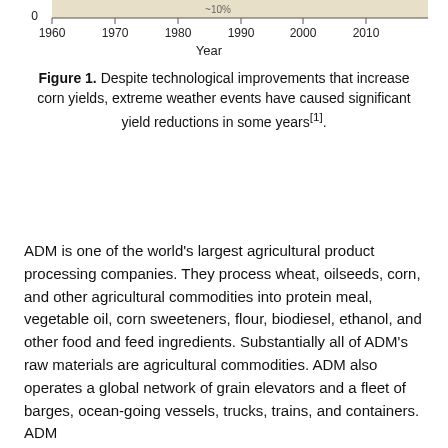[Figure (continuous-plot): Bottom portion of a line/area chart showing corn yield over years 1960-2010. The x-axis shows years (1960, 1970, 1980, 1990, 2000, 2010) labeled 'Year'. The y-axis shows 0 at the top visible portion. A tan/beige filled area is visible at the top of the cropped chart.]
Figure 1. Despite technological improvements that increase corn yields, extreme weather events have caused significant yield reductions in some years[1].
ADM is one of the world's largest agricultural product processing companies. They process wheat, oilseeds, corn, and other agricultural commodities into protein meal, vegetable oil, corn sweeteners, flour, biodiesel, ethanol, and other food and feed ingredients. Substantially all of ADM's raw materials are agricultural commodities. ADM also operates a global network of grain elevators and a fleet of barges, ocean-going vessels, trucks, trains, and containers. ADM